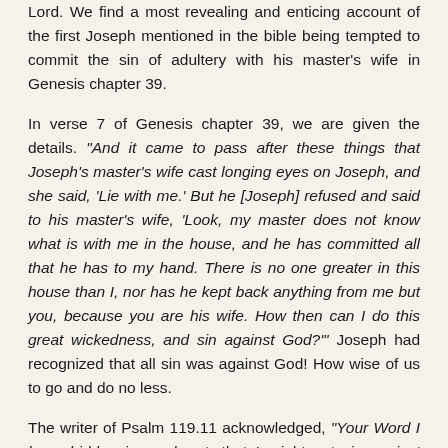Lord. We find a most revealing and enticing account of the first Joseph mentioned in the bible being tempted to commit the sin of adultery with his master's wife in Genesis chapter 39.
In verse 7 of Genesis chapter 39, we are given the details. "And it came to pass after these things that Joseph's master's wife cast longing eyes on Joseph, and she said, 'Lie with me.' But he [Joseph] refused and said to his master's wife, 'Look, my master does not know what is with me in the house, and he has committed all that he has to my hand. There is no one greater in this house than I, nor has he kept back anything from me but you, because you are his wife. How then can I do this great wickedness, and sin against God?'" Joseph had recognized that all sin was against God! How wise of us to go and do no less.
The writer of Psalm 119.11 acknowledged, "Your Word I have hidden in my heart, that I might not sin against You." Have